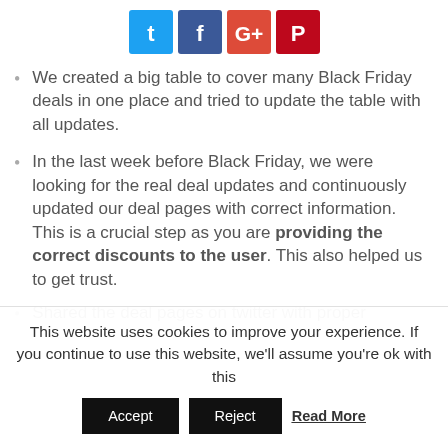[Figure (other): Social media share icons: Twitter (blue), Facebook (dark blue), Google+ (red), Pinterest (red)]
We created a big table to cover many Black Friday deals in one place and tried to update the table with all updates.
In the last week before Black Friday, we were looking for the real deal updates and continuously updated our deal pages with correct information. This is a crucial step as you are providing the correct discounts to the user. This also helped us to get trust.
Shared the deal pages on twitter with proper
This website uses cookies to improve your experience. If you continue to use this website, we'll assume you're ok with this
Accept  Reject  Read More